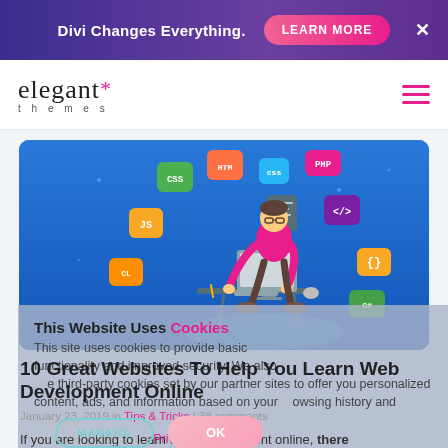[Figure (screenshot): Ad banner: purple gradient background with 'Divi Changes Everything.' text, pink 'LEARN MORE' button, and white X close button]
[Figure (logo): Elegant Themes logo with asterisk star in pink, serif wordmark 'elegant' and 'themes' subtitle]
[Figure (illustration): Hero image: blue background with person sitting at computer desk surrounded by floating technology icons (CSS, HTML, JS, PHP, etc.)]
This Website Uses Cookies
This site uses cookies to provide basic functionality and improved security. We also use third-party cookies set by our partner sites to offer you personalized content, ads, and information based on your browsing history and targeted advertising. View our Privacy Policy
10 Great Websites To Help You Learn Web Development Online
January 23, 2019 in Tips & Tricks | 38 comments
If you are looking to learn web development online, there